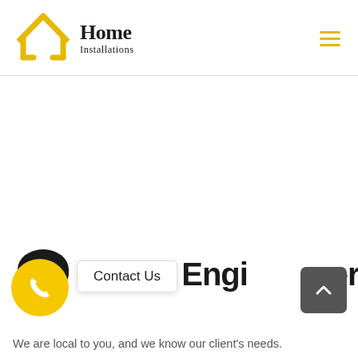[Figure (logo): Home Installations logo with yellow house icon and serif text]
[Figure (other): Hamburger menu icon with three yellow horizontal lines]
[Figure (other): Yellow circular call/phone button with phone icon]
[Figure (other): Dark circular background behind call button]
Contact Us
TV Engineer
[Figure (other): Dark grey square scroll-to-top button with upward chevron]
We are local to you, and we know our client's needs.